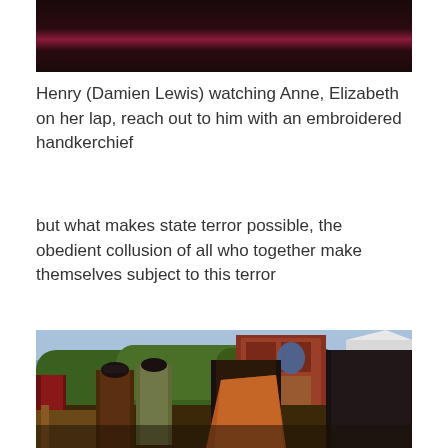[Figure (photo): Top portion of a scene showing a figure in dark clothing with a magenta/red draped fabric element, against a dark background]
Henry (Damien Lewis) watching Anne, Elizabeth on her lap, reach out to him with an embroidered handkerchief
but what makes state terror possible, the obedient collusion of all who together make themselves subject to this terror
[Figure (photo): Outdoor scene with actors in Tudor-period costumes. Several men in dark robes and hats stand in a field with trees and a heraldic tapestry banner in the background, with white tents visible.]